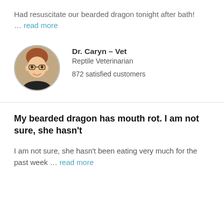Had resuscitate our bearded dragon tonight after bath! … read more
Dr. Caryn – Vet
Reptile Veterinarian
872 satisfied customers
My bearded dragon has mouth rot. I am not sure, she hasn't
I am not sure, she hasn't been eating very much for the past week … read more